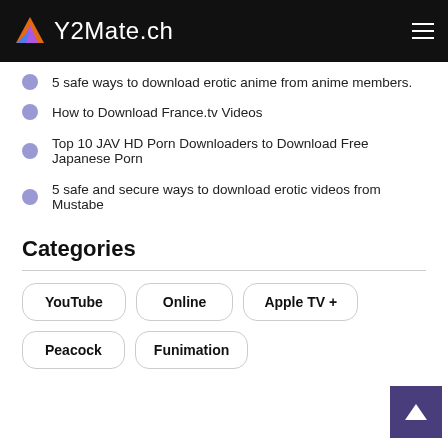Y2Mate.ch
5 safe ways to download erotic anime from anime members.
How to Download France.tv Videos
Top 10 JAV HD Porn Downloaders to Download Free Japanese Porn
5 safe and secure ways to download erotic videos from Mustabe
Categories
YouTube
Online
Apple TV +
Peacock
Funimation